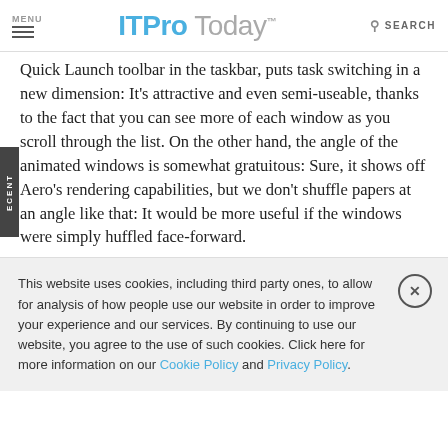MENU  ITPro Today  SEARCH
Quick Launch toolbar in the taskbar, puts task switching in a new dimension: It's attractive and even semi-useable, thanks to the fact that you can see more of each window as you scroll through the list. On the other hand, the angle of the animated windows is somewhat gratuitous: Sure, it shows off Aero's rendering capabilities, but we don't shuffle papers at an angle like that: It would be more useful if the windows were simply huffled face-forward.
This website uses cookies, including third party ones, to allow for analysis of how people use our website in order to improve your experience and our services. By continuing to use our website, you agree to the use of such cookies. Click here for more information on our Cookie Policy and Privacy Policy.